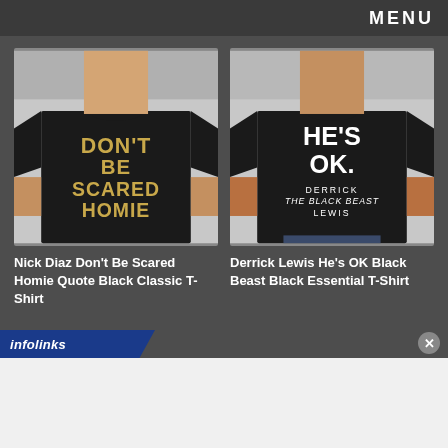MENU
[Figure (photo): Man wearing black t-shirt with gold/beige text 'DON'T BE SCARED HOMIE']
Nick Diaz Don't Be Scared Homie Quote Black Classic T-Shirt
[Figure (photo): Man wearing black t-shirt with white text 'HE'S OK. DERRICK THE BLACK BEAST LEWIS']
Derrick Lewis He's OK Black Beast Black Essential T-Shirt
infolinks